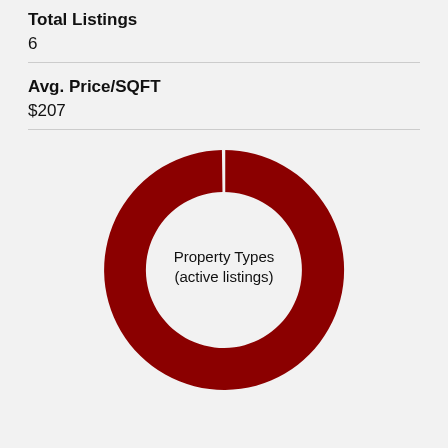Total Listings
6
Avg. Price/SQFT
$207
[Figure (donut-chart): Property Types (active listings)]